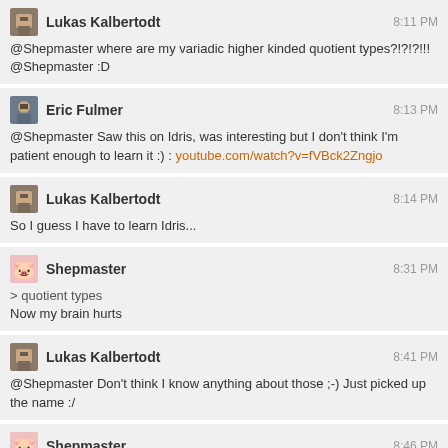Lukas Kalbertodt 8:11 PM
@Shepmaster where are my variadic higher kinded quotient types?!?!?!!!
@Shepmaster :D
Eric Fulmer 8:13 PM
@Shepmaster Saw this on Idris, was interesting but I don't think I'm patient enough to learn it :) : youtube.com/watch?v=fVBck2Zngjo
Lukas Kalbertodt 8:14 PM
So I guess I have to learn Idris...
Shepmaster 8:31 PM
> quotient types
Now my brain hurts
Lukas Kalbertodt 8:41 PM
@Shepmaster Don't think I know anything about those ;-) Just picked up the name :/
Shepmaster 8:46 PM
> a quotient type is an algebraic data type that represents a type whose equality relation has been redefined by a given equivalence relation such that the elements of the type are partitioned into a set of equivalence classes whose cardinality is less than or equal to that of the base type
well then
Lukas Kalbertodt 8:54 PM
@Shepmaster looks clear enough to me ;-)
Btw: answer to my question